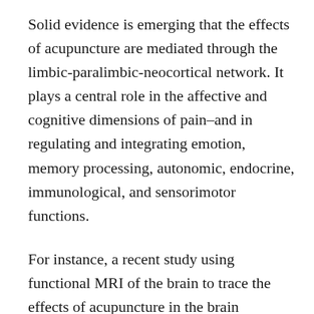Solid evidence is emerging that the effects of acupuncture are mediated through the limbic-paralimbic-neocortical network. It plays a central role in the affective and cognitive dimensions of pain–and in regulating and integrating emotion, memory processing, autonomic, endocrine, immunological, and sensorimotor functions.
For instance, a recent study using functional MRI of the brain to trace the effects of acupuncture in the brain stimulated four points: Taichong (LV3), Xingjian (LV2), Neiting (ST44), and a sham point on the top of the left foot. The hemodynamic response was similar for all four points, as was the sensory experience as reported by the study subjects. Regardless of the point being